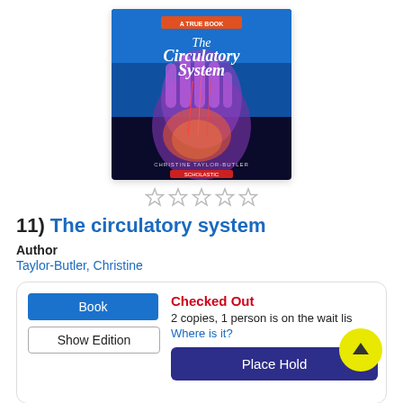[Figure (illustration): Book cover of 'The Circulatory System' - A True Book, published by Scholastic, by Christine Taylor-Butler. Features an X-ray image of a hand against a black/blue background with title in white text.]
[Figure (other): Five empty star rating icons in a row]
11)  The circulatory system
Author
Taylor-Butler, Christine
| Book | Checked Out |
| Show Edition | 2 copies, 1 person is on the wait list |
|  | Where is it? |
|  | Place Hold |
Description